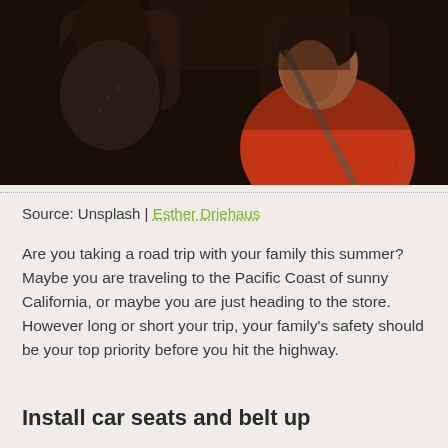[Figure (photo): Photo of people inside a car, dark interior, a woman in a red top visible, shot from backseat perspective]
Source: Unsplash | Esther Driehaus
Are you taking a road trip with your family this summer? Maybe you are traveling to the Pacific Coast of sunny California, or maybe you are just heading to the store. However long or short your trip, your family's safety should be your top priority before you hit the highway.
Install car seats and belt up